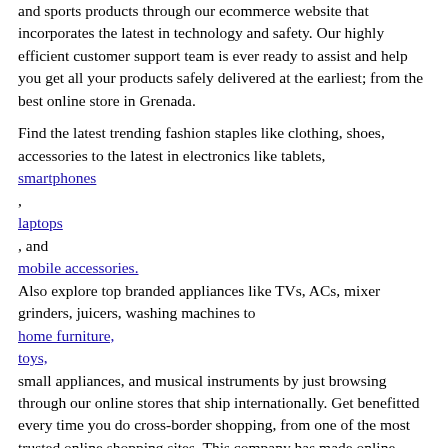and sports products through our ecommerce website that incorporates the latest in technology and safety. Our highly efficient customer support team is ever ready to assist and help you get all your products safely delivered at the earliest; from the best online store in Grenada.
Find the latest trending fashion staples like clothing, shoes, accessories to the latest in electronics like tablets, smartphones , laptops , and mobile accessories. Also explore top branded appliances like TVs, ACs, mixer grinders, juicers, washing machines to home furniture, toys, small appliances, and musical instruments by just browsing through our online stores that ship internationally. Get benefitted every time you do cross-border shopping, from one of the most trusted online shopping sites. This company has made online shopping abroad more enjoyable, efficient, and a truly rewarding experience.
Get Great Offers & Discounts on